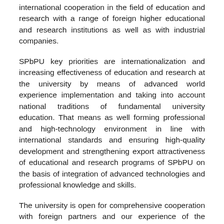international cooperation in the field of education and research with a range of foreign higher educational and research institutions as well as with industrial companies.
SPbPU key priorities are internationalization and increasing effectiveness of education and research at the university by means of advanced world experience implementation and taking into account national traditions of fundamental university education. That means as well forming professional and high-technology environment in line with international standards and ensuring high-quality development and strengthening export attractiveness of educational and research programs of SPbPU on the basis of integration of advanced technologies and professional knowledge and skills.
The university is open for comprehensive cooperation with foreign partners and our experience of the international projects development in the field of research, education, innovation could be useful for our colleagues from the other countries. Only over the last years the university has participated in more than 60 international projects carried out within the frameworks of a number of European and regional